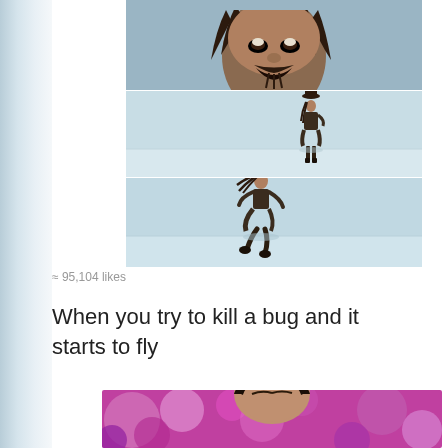[Figure (photo): Three stacked film stills showing a pirate character (Jack Sparrow from Pirates of the Caribbean): top panel shows a close-up of his face looking up with dreadlocks and beard; middle panel shows the full figure standing in a vast open flat landscape; bottom panel shows the figure running across the same landscape.]
≈ 95,104 likes
When you try to kill a bug and it starts to fly
[Figure (photo): Partial photo of a woman's face with a pink/purple bokeh background, cropped at the bottom of the page.]